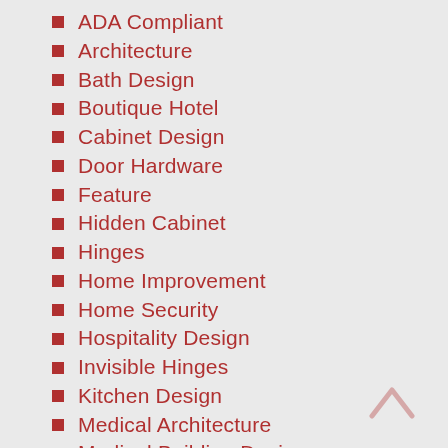ADA Compliant
Architecture
Bath Design
Boutique Hotel
Cabinet Design
Door Hardware
Feature
Hidden Cabinet
Hinges
Home Improvement
Home Security
Hospitality Design
Invisible Hinges
Kitchen Design
Medical Architecture
Medical Building Design
News
Rehab Facility Design